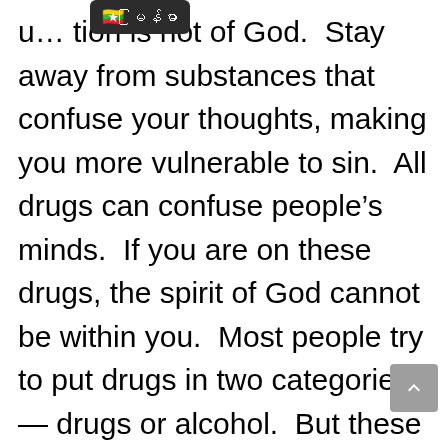u… tion is not of God.  Stay away from substances that confuse your thoughts, making you more vulnerable to sin.  All drugs can confuse people's minds.  If you are on these drugs, the spirit of God cannot be within you.  Most people try to put drugs in two categories — drugs or alcohol.  But these two substances do the same thing.  They confuse the users' thoughts and cause them to behave ungodly.  Other people say a little bit does not hurt, but it is more important to know…